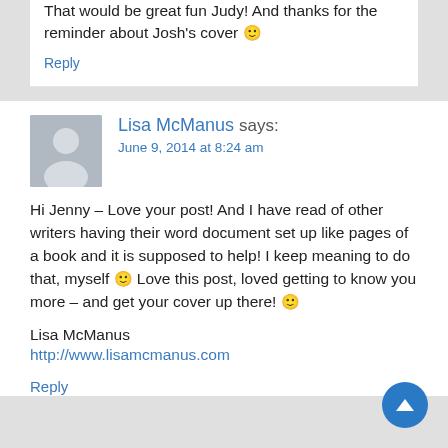That would be great fun Judy! And thanks for the reminder about Josh's cover 🙂
Reply
Lisa McManus says:
June 9, 2014 at 8:24 am
Hi Jenny – Love your post! And I have read of other writers having their word document set up like pages of a book and it is supposed to help! I keep meaning to do that, myself 🙂 Love this post, loved getting to know you more – and get your cover up there! 🙂
Lisa McManus
http://www.lisamcmanus.com
Reply